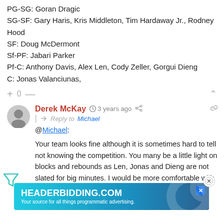PG-SG: Goran Dragic
SG-SF: Gary Haris, Kris Middleton, Tim Hardaway Jr., Rodney Hood
SF: Doug McDermont
Sf-PF: Jabari Parker
Pf-C: Anthony Davis, Alex Len, Cody Zeller, Gorgui Dieng
C: Jonas Valanciunas,
+ 0 —
Derek McKay  3 years ago  Reply to Michael
@Michael:

Your team looks fine although it is sometimes hard to tell not knowing the competition. You many be a little light on blocks and rebounds as Len, Jonas and Dieng are not slated for big minutes. I would be more comfortable with another quality big. I love Harris and Midd... Hood.
[Figure (logo): HEADERBIDDING.COM advertisement banner with tagline 'Your source for all things programmatic advertising.']